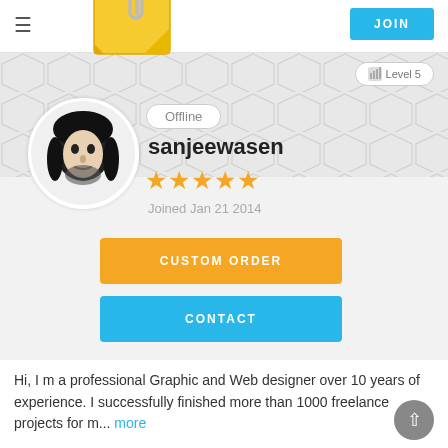≡  [Logo]  JOIN
[Figure (screenshot): Freelancer/marketplace profile card with hexagon background, user avatar, offline badge, username sanjeewasen, 5 stars, joined date, custom order and contact buttons]
Offline
sanjeewasen
Joined Jan 21 2014
CUSTOM ORDER
CONTACT
Hi, I m a professional Graphic and Web designer over 10 years of experience. I successfully finished more than 1000 freelance projects for m... more